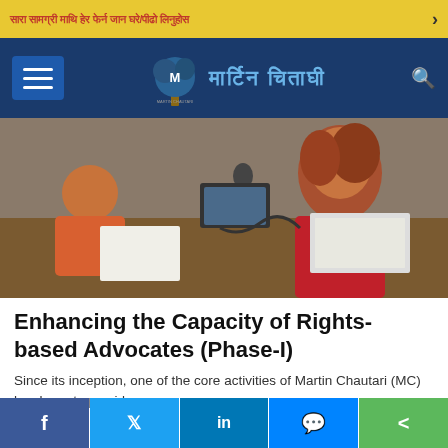मार्टिन चौतारी – ticker bar with Devanagari text
[Figure (photo): Two women sitting at a desk with microphones and papers, one with red hair wearing red shirt, engaged in discussion or recording]
Enhancing the Capacity of Rights-based Advocates (Phase-I)
Since its inception, one of the core activities of Martin Chautari (MC) has been to provide a
Social share bar: Facebook, Twitter, LinkedIn, Messenger, Share